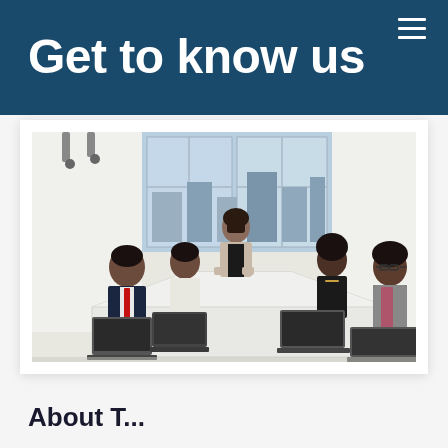Get to know us
[Figure (photo): A business meeting scene showing five Black professionals seated and standing around a white conference table with laptops. A woman stands at the center, and large windows with city views are visible in the background.]
About T...